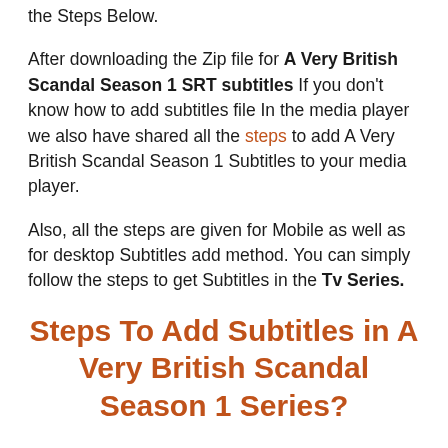the Steps Below.
After downloading the Zip file for A Very British Scandal Season 1 SRT subtitles If you don't know how to add subtitles file In the media player we also have shared all the steps to add A Very British Scandal Season 1 Subtitles to your media player.
Also, all the steps are given for Mobile as well as for desktop Subtitles add method. You can simply follow the steps to get Subtitles in the Tv Series.
Steps To Add Subtitles in A Very British Scandal Season 1 Series?
A Very British Scandal Season 1 Subtitle Disclaimer